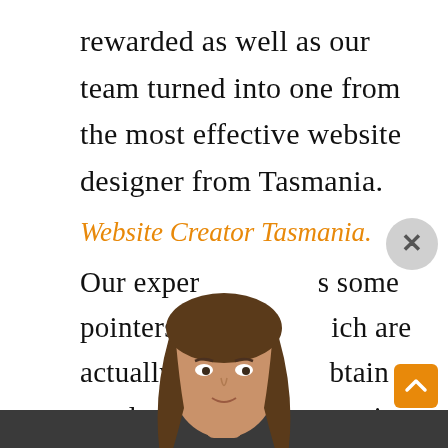rewarded as well as our team turned into one from the most effective website designer from Tasmania.
Website Creator Tasmania.
Our exper... s some pointers ... ich are actually ... btain an al... nia in th...
[Figure (photo): A woman with long brown hair wearing a black jacket and blue top, positioned in front of the text as a video overlay widget]
[Figure (other): Close button (X icon in a gray circle) and an orange scroll-up arrow button in the bottom right]